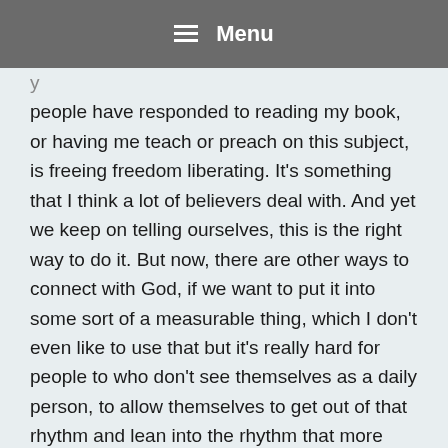Menu
people have responded to reading my book, or having me teach or preach on this subject, is freeing freedom liberating. It's something that I think a lot of believers deal with. And yet we keep on telling ourselves, this is the right way to do it. But now, there are other ways to connect with God, if we want to put it into some sort of a measurable thing, which I don't even like to use that but it's really hard for people to who don't see themselves as a daily person, to allow themselves to get out of that rhythm and lean into the rhythm that more who they are. And so even then, I think just that ingrained message we've had is one that's hard to pull ourselves [away from] e we'll feel guilty. But we
Manage consent